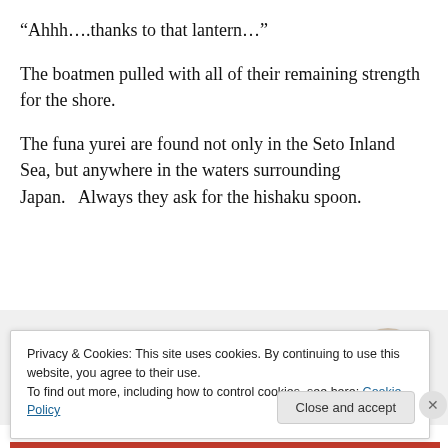“Ahhh….thanks to that lantern…”
The boatmen pulled with all of their remaining strength for the shore.
The funa yurei are found not only in the Seto Inland Sea, but anywhere in the waters surrounding Japan.   Always they ask for the hishaku spoon.
[Figure (infographic): Advertisement banner with bold text 'and a better world.', a blue Apply button, and a circular photo of a person thinking.]
Privacy & Cookies: This site uses cookies. By continuing to use this website, you agree to their use.
To find out more, including how to control cookies, see here: Cookie Policy
Close and accept